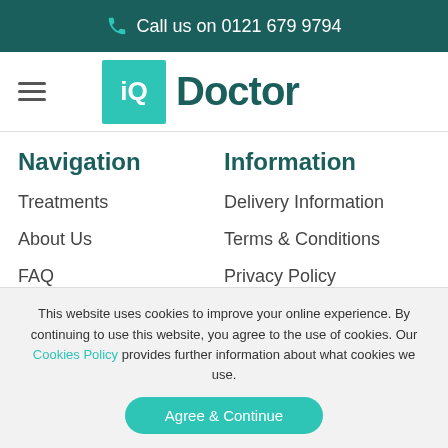Call us on 0121 679 9794
[Figure (logo): iQ Doctor logo with teal square containing 'iQ' text and 'Doctor' in dark teal]
Navigation
Treatments
About Us
FAQ
Contact Us
Information
Delivery Information
Terms & Conditions
Privacy Policy
Blog
This website uses cookies to improve your online experience. By continuing to use this website, you agree to the use of cookies. Our Cookies Policy provides further information about what cookies we use.